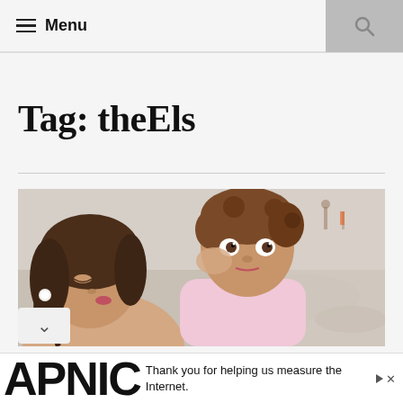Menu
Tag: theEls
[Figure (photo): A woman kissing a young toddler on the cheek at a beach. The woman has brown hair and a pearl earring; the child has curly brown hair and wears a pink shirt.]
Thank you for helping us measure the Internet.